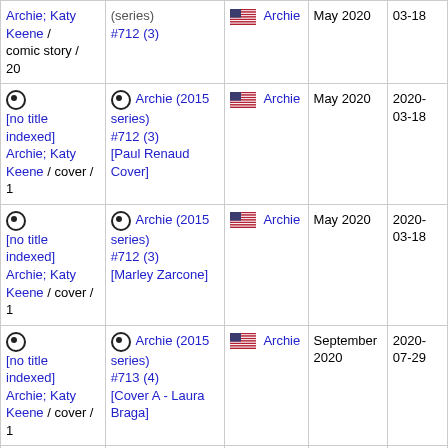| Title/Type | Series/Issue | Publisher | Date | Added |
| --- | --- | --- | --- | --- |
| [no title indexed] Archie; Katy Keene / comic story / 20 | Archie (2015 series) #712 (3) | Archie | May 2020 | 03-18 |
| [no title indexed] Archie; Katy Keene / cover / 1 | Archie (2015 series) #712 (3) [Paul Renaud Cover] | Archie | May 2020 | 2020-03-18 |
| [no title indexed] Archie; Katy Keene / cover / 1 | Archie (2015 series) #712 (3) [Marley Zarcone] | Archie | May 2020 | 2020-03-18 |
| [no title indexed] Archie; Katy Keene / cover / 1 | Archie (2015 series) #713 (4) [Cover A - Laura Braga] | Archie | September 2020 | 2020-07-29 |
| [no title indexed | Archie (2015 |  |  |  |